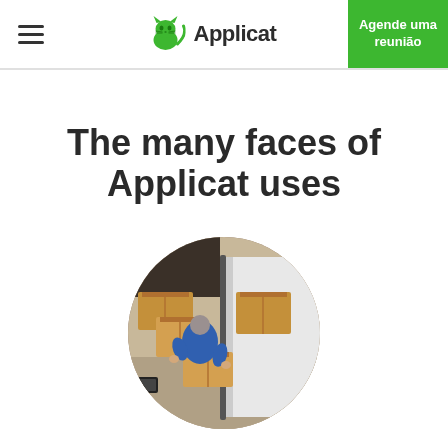Applicat — Agende uma reunião
The many faces of Applicat uses
[Figure (photo): A person loading or unloading cardboard boxes from a van, viewed from above in a circular cropped photo.]